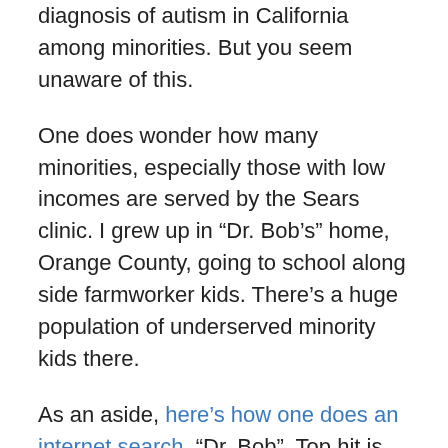diagnosis of autism in California among minorities. But you seem unaware of this.
One does wonder how many minorities, especially those with low incomes are served by the Sears clinic. I grew up in “Dr. Bob’s” home, Orange County, going to school along side farmworker kids. There’s a huge population of underserved minority kids there.
As an aside, here’s how one does an internet search, “Dr. Bob”. Top hit is Announcement: Autism Awareness Month and World Autism Day — April 2015. But that’s an MMWR (Morbidity and Mortality Weekly Report) from the CDC, and as a doctor you must follow those, right? Especially since the MMWR’s include, say, information about the recent California measles outbreak which you downplayed.